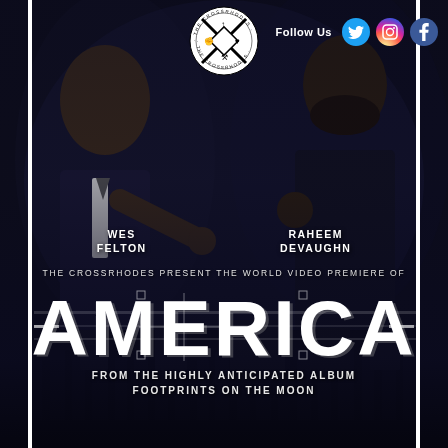[Figure (illustration): Promotional poster for 'America' music video premiere by The Crossrhodes. Features two men (Wes Felton and Raheem Devaughn) on a dark background with The Crossrhodes circular logo at top center, social media icons (Twitter, Instagram, Facebook) top right, large bold 'AMERICA' text center, subtitle text, and protest imagery at bottom.]